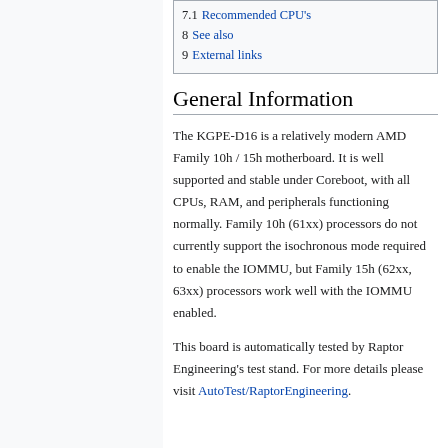7.1 Recommended CPU's
8 See also
9 External links
General Information
The KGPE-D16 is a relatively modern AMD Family 10h / 15h motherboard. It is well supported and stable under Coreboot, with all CPUs, RAM, and peripherals functioning normally. Family 10h (61xx) processors do not currently support the isochronous mode required to enable the IOMMU, but Family 15h (62xx, 63xx) processors work well with the IOMMU enabled.
This board is automatically tested by Raptor Engineering's test stand. For more details please visit AutoTest/RaptorEngineering.